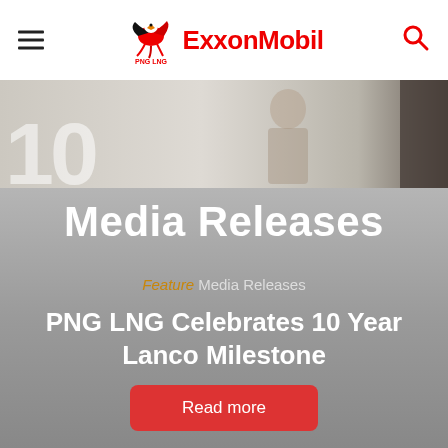PNG LNG | ExxonMobil
[Figure (photo): Background hero image showing large numbers and a person, partially visible at the top of the page]
Media Releases
Feature Media Releases
PNG LNG Celebrates 10 Year Lanco Milestone
Read more